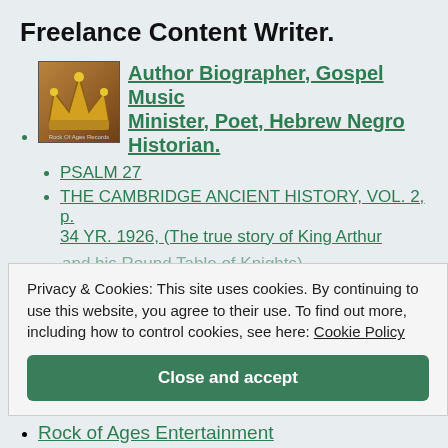Freelance Content Writer.
Author Biographer, Gospel Music Minister, Poet, Hebrew Negro Historian.
PSALM 27
THE CAMBRIDGE ANCIENT HISTORY, VOL. 2, p. 34 YR. 1926, (The true story of King Arthur and his Round Table of Knights)
Privacy & Cookies: This site uses cookies. By continuing to use this website, you agree to their use. To find out more, including how to control cookies, see here: Cookie Policy
Rock of Ages Entertainment